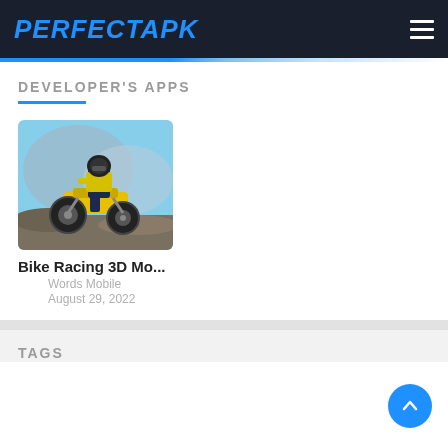PERFECTAPK
DEVELOPER'S APPS
[Figure (photo): Motorcycle dirt bike racing game screenshot showing a rider in yellow jacket on a yellow motocross bike on rocky terrain with mountains in background]
Bike Racing 3D Mo...
Words Mobile
August 29, 2022
TAGS